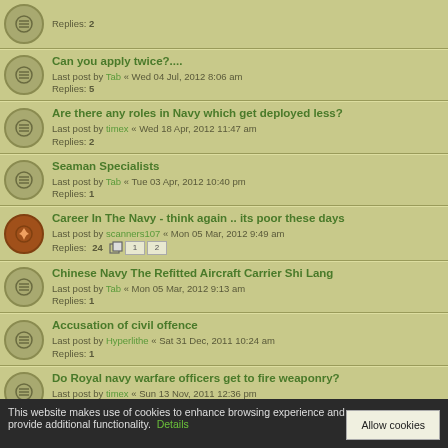Replies: 2
Can you apply twice?.... Last post by Tab « Wed 04 Jul, 2012 8:06 am Replies: 5
Are there any roles in Navy which get deployed less? Last post by timex « Wed 18 Apr, 2012 11:47 am Replies: 2
Seaman Specialists Last post by Tab « Tue 03 Apr, 2012 10:40 pm Replies: 1
Career In The Navy - think again .. its poor these days Last post by scanners107 « Mon 05 Mar, 2012 9:49 am Replies: 24
Chinese Navy The Refitted Aircraft Carrier Shi Lang Last post by Tab « Mon 05 Mar, 2012 9:13 am Replies: 1
Accusation of civil offence Last post by Hyperlithe « Sat 31 Dec, 2011 10:24 am Replies: 1
Do Royal navy warfare officers get to fire weaponry? Last post by timex « Sun 13 Nov, 2011 12:36 pm Replies: 4
This website makes use of cookies to enhance browsing experience and provide additional functionality. Details Allow cookies